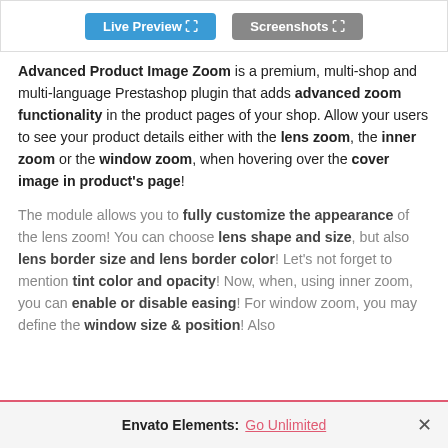[Figure (screenshot): Top navigation bar with 'Live Preview' and 'Screenshots' buttons]
Advanced Product Image Zoom is a premium, multi-shop and multi-language Prestashop plugin that adds advanced zoom functionality in the product pages of your shop. Allow your users to see your product details either with the lens zoom, the inner zoom or the window zoom, when hovering over the cover image in product's page!
The module allows you to fully customize the appearance of the lens zoom! You can choose lens shape and size, but also lens border size and lens border color! Let's not forget to mention tint color and opacity! Now, when, using inner zoom, you can enable or disable easing! For window zoom, you may define the window size & position! Also
Envato Elements: Go Unlimited ×